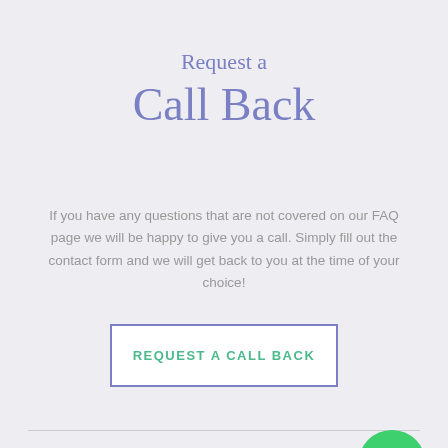Request a Call Back
If you have any questions that are not covered on our FAQ page we will be happy to give you a call. Simply fill out the contact form and we will get back to you at the time of your choice!
REQUEST A CALL BACK
[Figure (logo): Green circular Facebook Messenger icon with lightning bolt chat symbol]
[Figure (logo): Cyan phone icon with green circle containing '24', next to 'Request a Call Back' text]